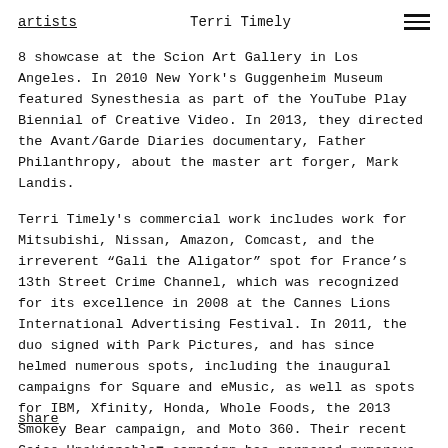artists   Terri Timely
8 showcase at the Scion Art Gallery in Los Angeles. In 2010 New York's Guggenheim Museum featured Synesthesia as part of the YouTube Play Biennial of Creative Video. In 2013, they directed the Avant/Garde Diaries documentary, Father Philanthropy, about the master art forger, Mark Landis.
Terri Timely's commercial work includes work for Mitsubishi, Nissan, Amazon, Comcast, and the irreverent “Gali the Aligator” spot for France’s 13th Street Crime Channel, which was recognized for its excellence in 2008 at the Cannes Lions International Advertising Festival. In 2011, the duo signed with Park Pictures, and has since helmed numerous spots, including the inaugural campaigns for Square and eMusic, as well as spots for IBM, Xfinity, Honda, Whole Foods, the 2013 Smokey Bear campaign, and Moto 360. Their recent Geico Unskippable■ campaign has garnered numerous industry awards including a Grand Prix win at the 2015 Cannes Lions.
share